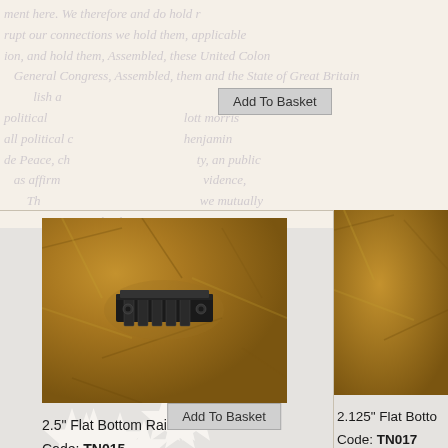[Figure (screenshot): E-commerce product listing page with patriotic/Constitution background showing two Flat Bottom Rail products. Top portion shows 'Add To Basket' button. Left product: 2.5 inch Flat Bottom Rail photo on brown wrapping paper background with black rail component visible.]
2.5" Flat Bottom Rail
Code: TN015
Price: $12.00
Quantity in Basket: none
2.125" Flat Bottom Rail (partially visible)
Code: TN017
Price: $10.00
Quantity in Basket: (partially visible)
Add To Basket
Add To Basket